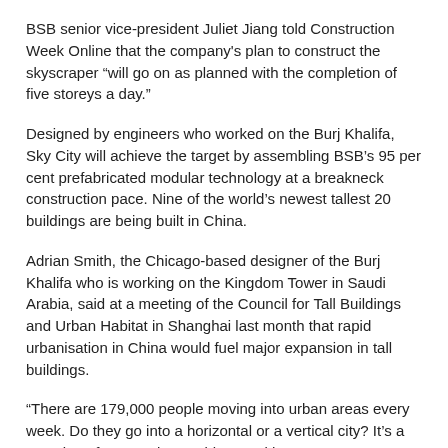BSB senior vice-president Juliet Jiang told Construction Week Online that the company's plan to construct the skyscraper “will go on as planned with the completion of five storeys a day.”
Designed by engineers who worked on the Burj Khalifa, Sky City will achieve the target by assembling BSB’s 95 per cent prefabricated modular technology at a breakneck construction pace. Nine of the world’s newest tallest 20 buildings are being built in China.
Adrian Smith, the Chicago-based designer of the Burj Khalifa who is working on the Kingdom Tower in Saudi Arabia, said at a meeting of the Council for Tall Buildings and Urban Habitat in Shanghai last month that rapid urbanisation in China would fuel major expansion in tall buildings.
“There are 179,000 people moving into urban areas every week. Do they go into a horizontal or a vertical city? It’s a question of economics,” said Mr Smith.